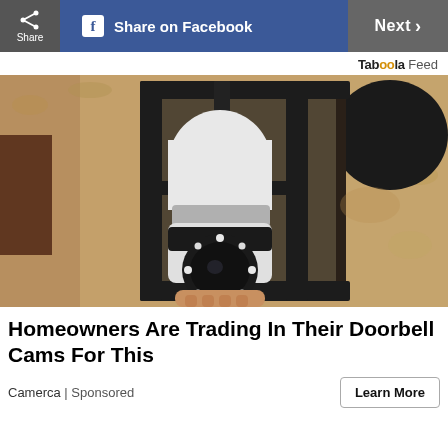Share | Share on Facebook | Next >
Taboola Feed
[Figure (photo): A camera disguised as a light bulb installed inside a black outdoor wall lantern fixture mounted on a textured stucco wall. A hand is holding the camera-bulb device in place.]
Homeowners Are Trading In Their Doorbell Cams For This
Camerca | Sponsored
Learn More